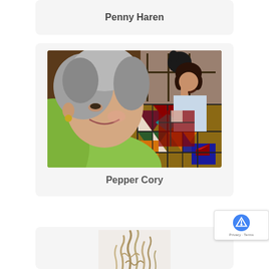Penny Haren
[Figure (photo): Photo of Pepper Cory, a woman with short grey hair wearing a green top, posed in front of a stained glass quilt art piece depicting a woman holding a quilt]
Pepper Cory
[Figure (photo): Partial photo of a person with curly hair, only top of head visible]